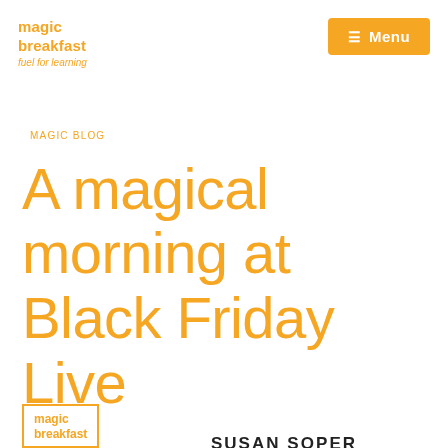magic breakfast
fuel for learning
≡ Menu
MAGIC BLOG
A magical morning at Black Friday Live
SUSAN SOPER
[Figure (logo): Magic breakfast logo in orange border box at bottom left]